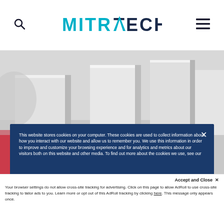MITRATECH
[Figure (photo): Abstract 3D white/grey rectangular blocks on a light surface with red gradient at the bottom]
This website stores cookies on your computer. These cookies are used to collect information about how you interact with our website and allow us to remember you. We use this information in order to improve and customize your browsing experience and for analytics and metrics about our visitors both on this website and other media. To find out more about the cookies we use, see our
Accept and Close ✕
Your browser settings do not allow cross-site tracking for advertising. Click on this page to allow AdRoll to use cross-site tracking to tailor ads to you. Learn more or opt out of this AdRoll tracking by clicking here. This message only appears once.